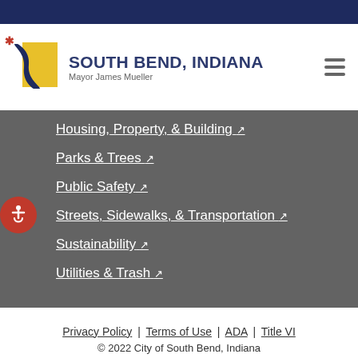South Bend, Indiana — Mayor James James Mueller
Housing, Property, & Building
Parks & Trees
Public Safety
Streets, Sidewalks, & Transportation
Sustainability
Utilities & Trash
Privacy Policy | Terms of Use | ADA | Title VI
© 2022 City of South Bend, Indiana